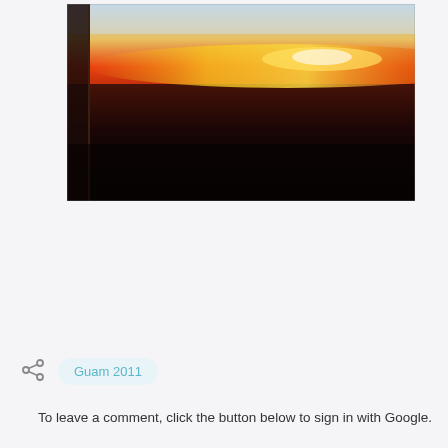[Figure (photo): Aerial photograph taken from an airplane window showing a dramatic sunset or sunrise. The horizon glows with vivid orange, red, and yellow hues against a dark landscape below and a pale blue-white sky above. The airplane window frame or wing is faintly visible on the left edge.]
Guam 2011
To leave a comment, click the button below to sign in with Google.